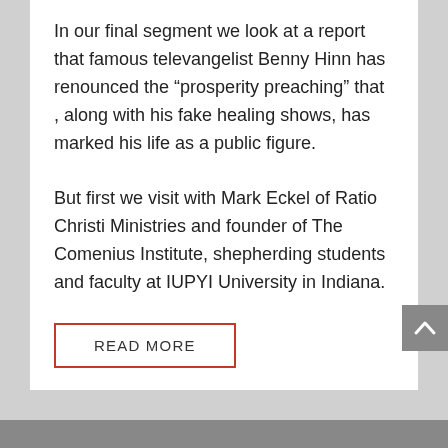In our final segment we look at a report that famous televangelist Benny Hinn has renounced the “prosperity preaching” that , along with his fake healing shows, has marked his life as a public figure.
But first we visit with Mark Eckel of Ratio Christi Ministries and founder of The Comenius Institute, shepherding students and faculty at IUPYI University in Indiana.
READ MORE